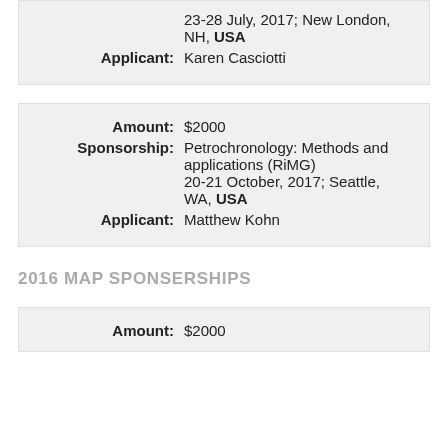| 23-28 July, 2017; New London, NH, USA |
| Applicant: | Karen Casciotti |
| Amount: | $2000 |
| Sponsorship: | Petrochronology: Methods and applications (RiMG)
20-21 October, 2017; Seattle, WA, USA |
| Applicant: | Matthew Kohn |
2016 MAP SPONSERSHIPS
| Amount: | $2000 |